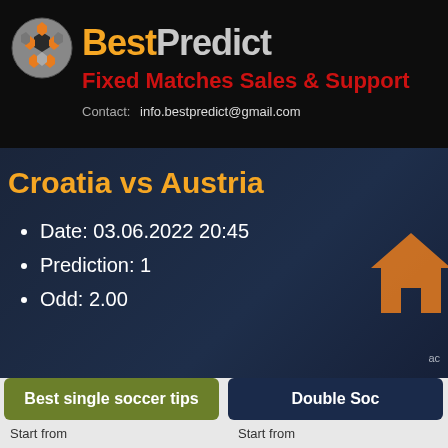[Figure (logo): BestPredict logo with soccer ball icon and brand name, Fixed Matches Sales & Support tagline, contact email]
Croatia vs Austria
Date: 03.06.2022 20:45
Prediction: 1
Odd: 2.00
Best single soccer tips
Double Soc...
Start from
Start from